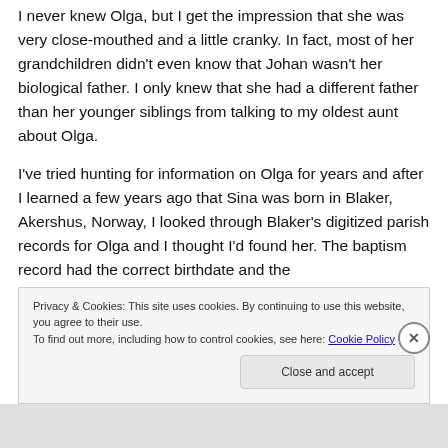I never knew Olga, but I get the impression that she was very close-mouthed and a little cranky. In fact, most of her grandchildren didn't even know that Johan wasn't her biological father. I only knew that she had a different father than her younger siblings from talking to my oldest aunt about Olga.
I've tried hunting for information on Olga for years and after I learned a few years ago that Sina was born in Blaker, Akershus, Norway, I looked through Blaker's digitized parish records for Olga and I thought I'd found her. The baptism record had the correct birthdate and the
Privacy & Cookies: This site uses cookies. By continuing to use this website, you agree to their use.
To find out more, including how to control cookies, see here: Cookie Policy
Close and accept